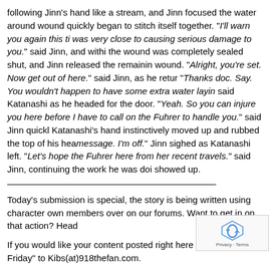following Jinn's hand like a stream, and Jinn focused the water around wound quickly began to stitch itself together. "I'll warn you again this ti was very close to causing serious damage to you." said Jinn, and withi the wound was completely sealed shut, and Jinn released the remainin wound. "Alright, you're set. Now get out of here." said Jinn, as he retur "Thanks doc. Say. You wouldn't happen to have some extra water layin said Katanashi as he headed for the door. "Yeah. So you can injure you here before I have to call on the Fuhrer to handle you." said Jinn quickl Katanashi's hand instinctively moved up and rubbed the top of his hea message. I'm off." Jinn sighed as Katanashi left. "Let's hope the Fuhrer here from her recent travels." said Jinn, continuing the work he was doi showed up.
Today's submission is special, the story is being written using character own members over on our forums. Want to get in on that action? Head
If you would like your content posted right here on 91.8 The Friday" to Kibs(at)918thefan.com.